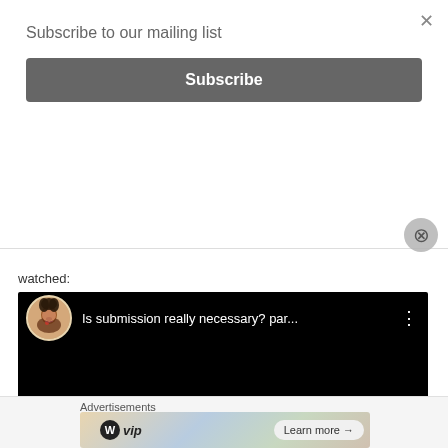Subscribe to our mailing list
Subscribe
watched:
[Figure (screenshot): Embedded YouTube video player showing 'Is submission really necessary? par...' with a circular avatar of a woman on the left, video title text, and three-dot menu. The video frame is black.]
Advertisements
[Figure (infographic): WordPress VIP advertisement banner with colorful background showing social media icons (Facebook, etc.) and a 'Learn more →' button.]